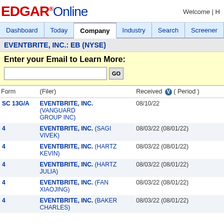EDGAR Online | Welcome | H...
Dashboard | Today | Company | Industry | Search | Screener | Ana...
EVENTBRITE, INC.: EB (NYSE)
Enter your Email to Learn More:
| Form | (Filer) | Received | ( Period ) |
| --- | --- | --- | --- |
| SC 13G/A | EVENTBRITE, INC. (VANGUARD GROUP INC) | 08/10/22 |  |
| 4 | EVENTBRITE, INC. (SAGI VIVEK) | 08/03/22 | (08/01/22) |
| 4 | EVENTBRITE, INC. (HARTZ KEVIN) | 08/03/22 | (08/01/22) |
| 4 | EVENTBRITE, INC. (HARTZ JULIA) | 08/03/22 | (08/01/22) |
| 4 | EVENTBRITE, INC. (FAN XIAOJING) | 08/03/22 | (08/01/22) |
| 4 | EVENTBRITE, INC. (BAKER CHARLES) | 08/03/22 | (08/01/22) |